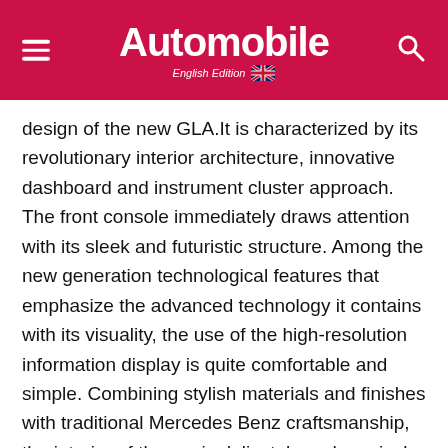Automobile English Edition
design of the new GLA.It is characterized by its revolutionary interior architecture, innovative dashboard and instrument cluster approach. The front console immediately draws attention with its sleek and futuristic structure. Among the new generation technological features that emphasize the advanced technology it contains with its visuality, the use of the high-resolution information display is quite comfortable and simple. Combining stylish materials and finishes with traditional Mercedes Benz craftsmanship, the interior of the car is delicately and precisely designed with an interior design that does not tire the driver. You can clearly see all the information about the vehicle on the instrument cluster, on the high-resolution color display offered in all versions, and on the dashboard with stylish and striking decorative upholstery.